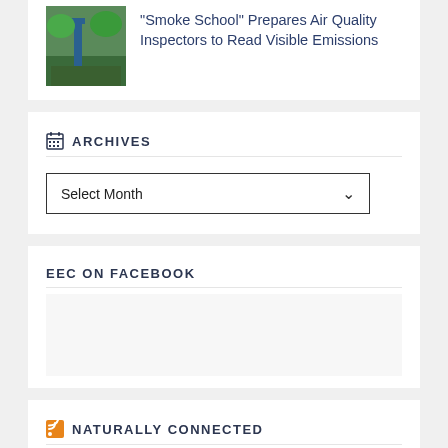[Figure (photo): Thumbnail photo of outdoor scene with blue equipment and green trees]
“Smoke School” Prepares Air Quality Inspectors to Read Visible Emissions
ARCHIVES
Select Month
EEC ON FACEBOOK
NATURALLY CONNECTED
Gov. Beshear Announces $25 Million To Plug Orphan Wells Across Kentucky